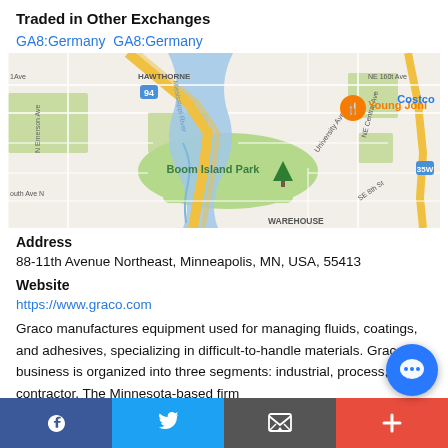Traded in Other Exchanges
GA8:Germany GA8:Germany
[Figure (map): Google Maps view showing Minneapolis area including Boom Island Park, Mississippi River, Young Joni restaurant marker, Costco, and highway 94 and 35W.]
Address
88-11th Avenue Northeast, Minneapolis, MN, USA, 55413
Website
https://www.graco.com
Graco manufactures equipment used for managing fluids, coatings, and adhesives, specializing in difficult-to-handle materials. Graco’s business is organized into three segments: industrial, process, and contractor. The Minnesota-based firm
Facebook | Twitter | Email | Plus